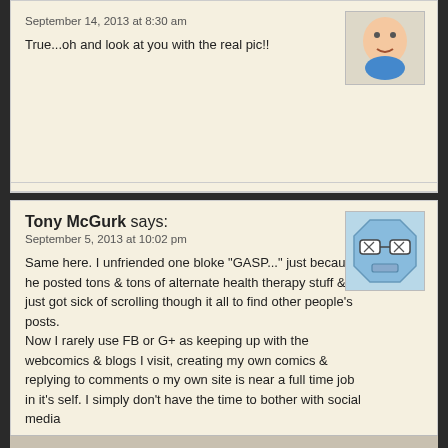September 14, 2013 at 8:30 am
True...oh and look at you with the real pic!!
Tony McGurk says:
September 5, 2013 at 10:02 pm
Same here. I unfriended one bloke "GASP..." just because he posted tons & tons of alternate health therapy stuff & I just got sick of scrolling though it all to find other people's posts.
Now I rarely use FB or G+ as keeping up with the webcomics & blogs I visit, creating my own comics & replying to comments o my own site is near a full time job in it's self. I simply don't have the time to bother with social media